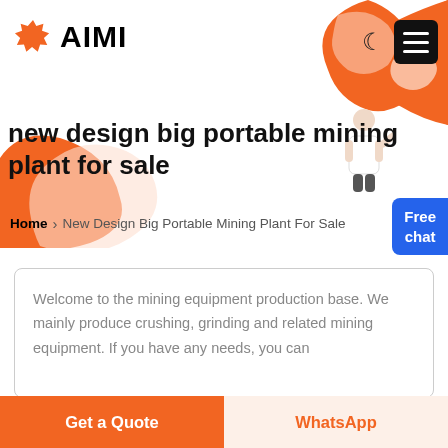AIMI
new design big portable mining plant for sale
Home > New Design Big Portable Mining Plant For Sale
Welcome to the mining equipment production base. We mainly produce crushing, grinding and related mining equipment. If you have any needs, you can
Get a Quote
WhatsApp